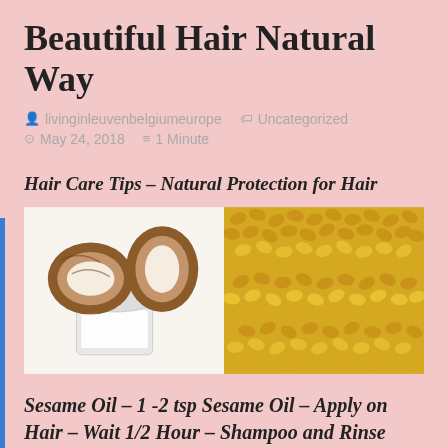Beautiful Hair Natural Way
livinginleuvenbelgiumeurope   Uncategorized
May 24, 2018   1 Minute
Hair Care Tips – Natural Protection for Hair
[Figure (photo): Two side-by-side photos: left shows coconut halves with a jar of coconut oil on white background; right shows golden fenugreek/sesame seeds close-up]
Sesame Oil – 1 -2 tsp Sesame Oil – Apply on Hair – Wait 1/2 Hour – Shampoo and Rinse